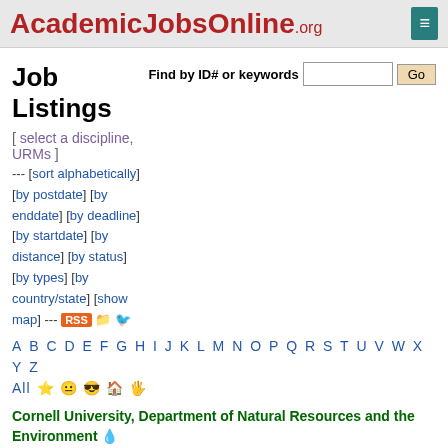AcademicJobsOnline.org
Job Listings
[ select a discipline, URMs ]
--- [sort alphabetically] [by postdate] [by enddate] [by deadline] [by startdate] [by distance] [by status] [by types] [by country/state] [show map] --- RSS
Find by ID# or keywords  Go
A B C D E F G H I J K L M N O P Q R S T U V W X Y Z  All
Cornell University, Department of Natural Resources and the Environment
[NYISRIPD] Postdoctoral Associate (deadline 2022/07/29 11:59PM)   Apply
[PDLARS] Postdoctoral Associate (deadline 2022/08/01 11:59PM)   Apply
[SRA] Sr. Research Associate (deadline 2022/05/31 11:59PM)   Apply
Cornell University, School of Integrative Plant Science - Section of Plant Biology
[POSTDOCSCANLON] Postdoctoral Associate (2022/12/31 11:59PM)   Apply